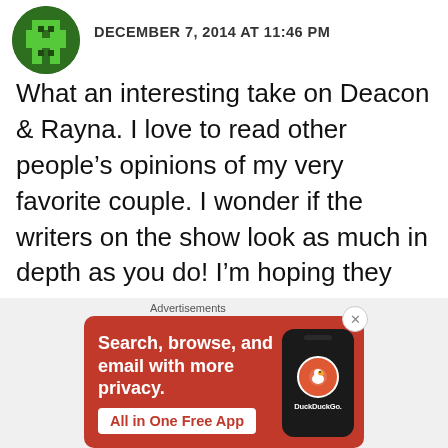DECEMBER 7, 2014 AT 11:46 PM
What an interesting take on Deacon & Rayna. I love to read other people's opinions of my very favorite couple. I wonder if the writers on the show look as much in depth as you do! I'm hoping they are. Personally I have had these “last talks” and have gotten to the point of letting go & meaning it, only to have that little bird return to me, forever. It can happen, but only
[Figure (infographic): DuckDuckGo advertisement banner with orange/red background showing a smartphone with DuckDuckGo logo. Text reads: Search, browse, and email with more privacy. All in One Free App]
Advertisements